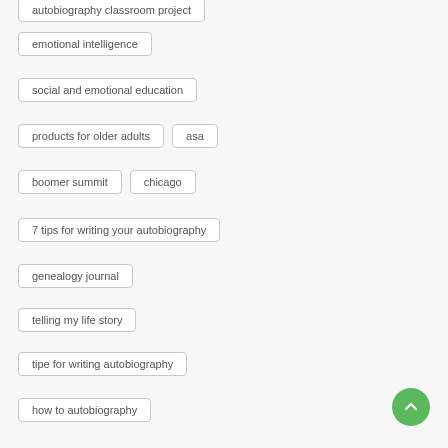autobiography classroom project
emotional intelligence
social and emotional education
products for older adults
asa
boomer summit
chicago
7 tips for writing your autobiography
genealogy journal
telling my life story
tipe for writing autobiography
how to autobiography